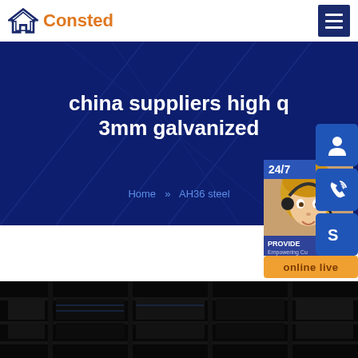[Figure (logo): Consted brand logo with house icon in navy blue and orange text]
[Figure (screenshot): Hero banner with dark navy background and decorative lines. Title: china suppliers high quality 3mm galvanized. Breadcrumb: Home >> AH36 steel. Overlapping customer service panel with 24/7 text, a woman with headset, PROVIDE / Empowering Customers text, and three blue icon buttons (person, phone, Skype) plus orange online live button.]
[Figure (photo): Dark industrial/warehouse photo at bottom of page]